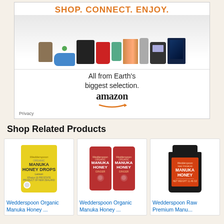[Figure (illustration): Amazon advertisement banner with product images (PlayStation, shoes, KitchenAid mixer, books, tablet, movie), text 'SHOP. CONNECT. ENJOY.', 'All from Earth's biggest selection.', Amazon logo with smile arrow, and Privacy label]
Shop Related Products
[Figure (photo): Wedderspoon Organic Manuka Honey Drops Lemon yellow bag product image]
Wedderspoon Organic Manuka Honey ...
[Figure (photo): Wedderspoon Organic Manuka Honey Ginger two red packets product image]
Wedderspoon Organic Manuka Honey ...
[Figure (photo): Wedderspoon Raw Premium Manuka Honey dark glass jar with orange label product image]
Wedderspoon Raw Premium Manu...